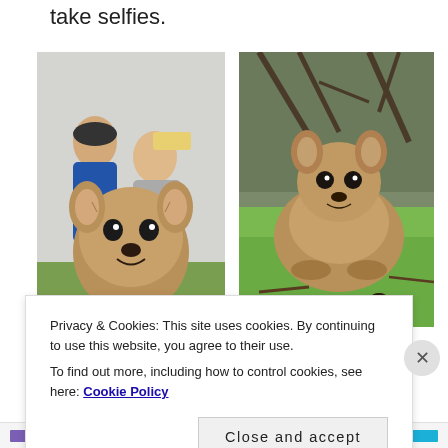take selfies.
[Figure (photo): A couple crouching behind a quokka taking a selfie outdoors on grass, the quokka's face is prominent in the foreground.]
[Figure (photo): A quokka sitting on grass surrounded by sticks and droppings, with branches visible in the background.]
Privacy & Cookies: This site uses cookies. By continuing to use this website, you agree to their use.
To find out more, including how to control cookies, see here: Cookie Policy
Close and accept